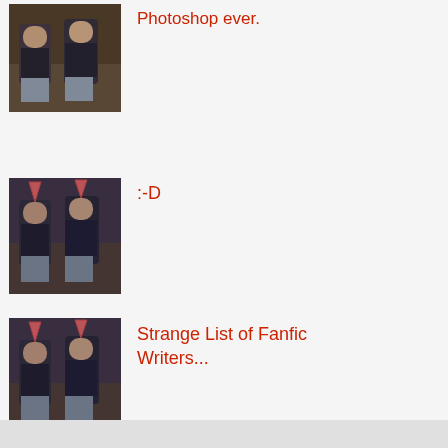[Figure (photo): Thumbnail photo of two people standing together, old photo style]
Photoshop ever.
[Figure (photo): Thumbnail photo of two people with party hats, old photo style]
:-D
[Figure (photo): Thumbnail photo of two people with party hats, old photo style]
Strange List of Fanfic Writers...